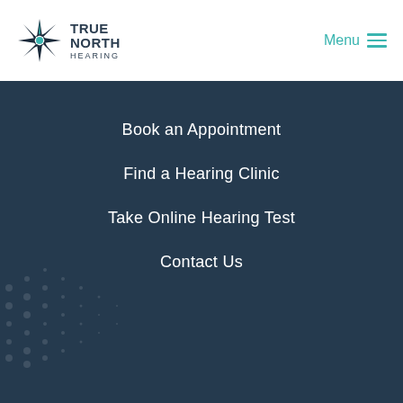[Figure (logo): True North Hearing logo with star compass icon and text TRUE NORTH HEARING]
Menu
Book an Appointment
Find a Hearing Clinic
Take Online Hearing Test
Contact Us
Privacy Policy | Terms and Conditions | ©2022 True North Hearing